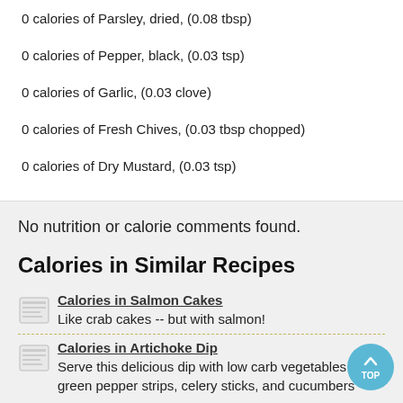0 calories of Parsley, dried, (0.08 tbsp)
0 calories of Pepper, black, (0.03 tsp)
0 calories of Garlic, (0.03 clove)
0 calories of Fresh Chives, (0.03 tbsp chopped)
0 calories of Dry Mustard, (0.03 tsp)
No nutrition or calorie comments found.
Calories in Similar Recipes
Calories in Salmon Cakes
Like crab cakes -- but with salmon!
Calories in Artichoke Dip
Serve this delicious dip with low carb vegetables like green pepper strips, celery sticks, and cucumbers